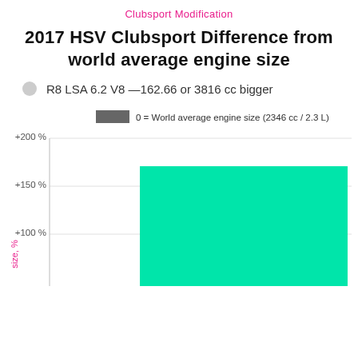Clubsport Modification
2017 HSV Clubsport Difference from world average engine size
R8 LSA 6.2 V8 —162.66 or 3816 cc bigger
[Figure (bar-chart): 2017 HSV Clubsport Difference from world average engine size]